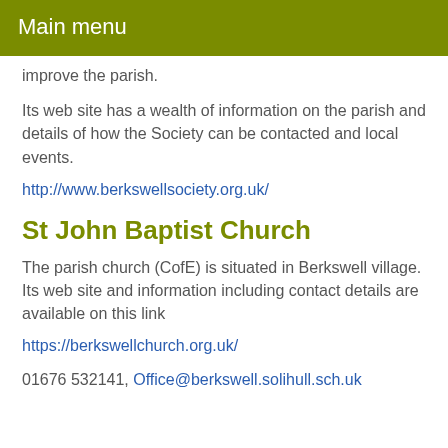Main menu
improve the parish.
Its web site has a wealth of information on the parish and details of how the Society can be contacted and local events.
http://www.berkswellsociety.org.uk/
St John Baptist Church
The parish church (CofE) is situated in Berkswell village. Its web site and information including contact details are available on this link
https://berkswellchurch.org.uk/
01676 532141, Office@berkswell.solihull.sch.uk